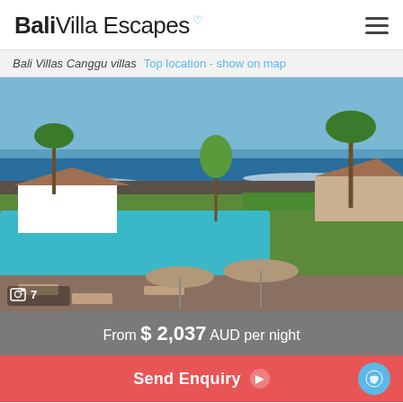Bali Villa Escapes
Bali Villas Canggu villas  Top location - show on map
[Figure (photo): Aerial view of a Bali villa resort with large infinity pool, sun loungers with umbrellas, tropical garden, traditional thatched-roof pavilions, and the ocean with waves in the background]
From $ 2,037 AUD per night
Send Enquiry